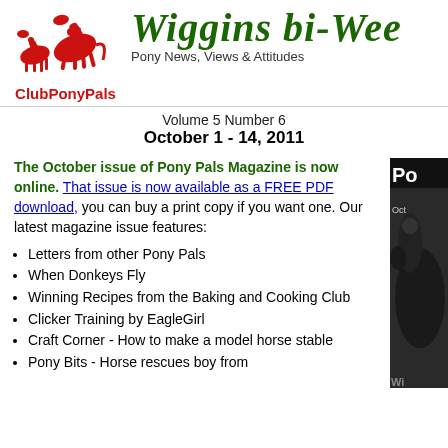[Figure (logo): ClubPonyPals logo with red horse/rider graphic and red bold text ClubPonyPals]
Wiggins bi-Wee[kly] — Pony News, Views & Attitudes
Volume 5 Number 6
October 1 - 14, 2011
The October issue of Pony Pals Magazine is now online. That issue is now available as a FREE PDF download, you can buy a print copy if you want one. Our latest magazine issue features:
Letters from other Pony Pals
When Donkeys Fly
Winning Recipes from the Baking and Cooking Club
Clicker Training by EagleGirl
Craft Corner - How to make a model horse stable
Pony Bits - Horse rescues boy from
[Figure (photo): Partial photo on right side showing a dark horse and person, with magazine cover text visible]